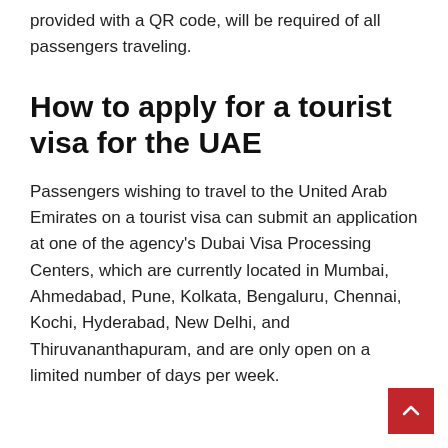provided with a QR code, will be required of all passengers traveling.
How to apply for a tourist visa for the UAE
Passengers wishing to travel to the United Arab Emirates on a tourist visa can submit an application at one of the agency's Dubai Visa Processing Centers, which are currently located in Mumbai, Ahmedabad, Pune, Kolkata, Bengaluru, Chennai, Kochi, Hyderabad, New Delhi, and Thiruvananthapuram, and are only open on a limited number of days per week.